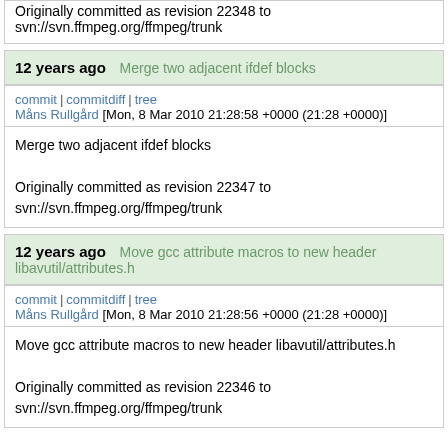Originally committed as revision 22348 to svn://svn.ffmpeg.org/ffmpeg/trunk
12 years ago   Merge two adjacent ifdef blocks
commit | commitdiff | tree
Måns Rullgård [Mon, 8 Mar 2010 21:28:58 +0000 (21:28 +0000)]
Merge two adjacent ifdef blocks

Originally committed as revision 22347 to svn://svn.ffmpeg.org/ffmpeg/trunk
12 years ago   Move gcc attribute macros to new header libavutil/attributes.h
commit | commitdiff | tree
Måns Rullgård [Mon, 8 Mar 2010 21:28:56 +0000 (21:28 +0000)]
Move gcc attribute macros to new header libavutil/attributes.h

Originally committed as revision 22346 to svn://svn.ffmpeg.org/ffmpeg/trunk